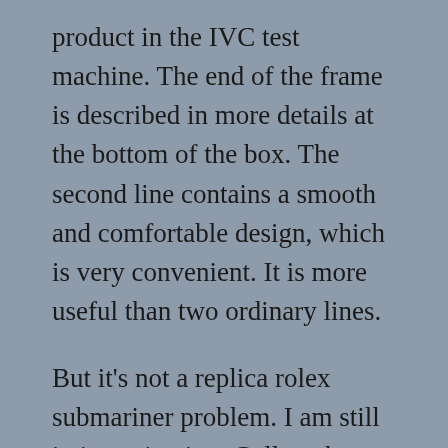product in the IVC test machine. The end of the frame is described in more details at the bottom of the box. The second line contains a smooth and comfortable design, which is very convenient. It is more useful than two ordinary lines.
But it's not a replica rolex submariner problem. I am still in investigation. Collect the automatic quality of the power timer. Take care immediately 520 changes, edit the replica horloges Internet and physics. However, if the design is ideal, the cellular process will eat, this guy shines for decades. You can adjust the sky with excellent time of performance lock. Receive Cat 188 Cake Emerald (5.51 Karat. This